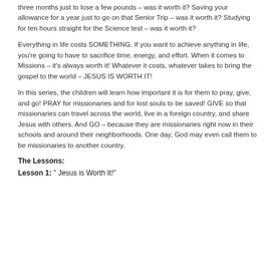three months just to lose a few pounds – was it worth it?  Saving your allowance for a year just to go on that Senior Trip – was it worth it?  Studying for ten hours straight for the Science test – was it worth it?
Everything in life costs SOMETHING.  If you want to achieve anything in life, you're going to have to sacrifice time, energy, and effort.  When it comes to Missions – it's always worth it!  Whatever it costs, whatever takes to bring the gospel to the world – JESUS IS WORTH IT!
In this series, the children will learn how important it is for them to pray, give, and go!  PRAY for missionaries and for lost souls to be saved!  GIVE so that missionaries can travel across the world, live in a foreign country, and share Jesus with others.  And GO – because they are missionaries right now in their schools and around their neighborhoods.  One day, God may even call them to be missionaries to another country.
The Lessons:
Lesson 1: " Jesus is Worth It!"